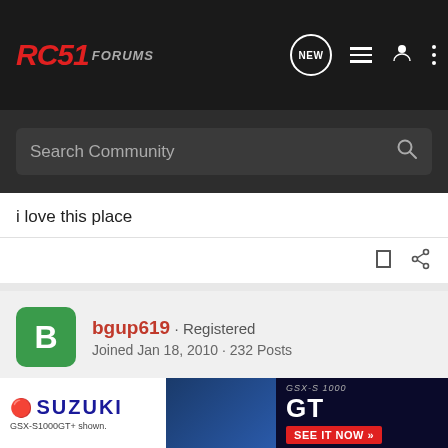RC51 FORUMS
Search Community
i love this place
bgup619 · Registered
Joined Jan 18, 2010 · 232 Posts
#7 · Jan 24, 2010
im confused now.. if the only difference between the SP1 ad SP2 systems are to clear the P1 swing arm and I have an SP2 swingarm on my SP1 then I should be able to use either on my bike correct? I like the Sato banzai super high mounts but also need th
[Figure (advertisement): Suzuki GSX-S1000GT advertisement banner at bottom of page]